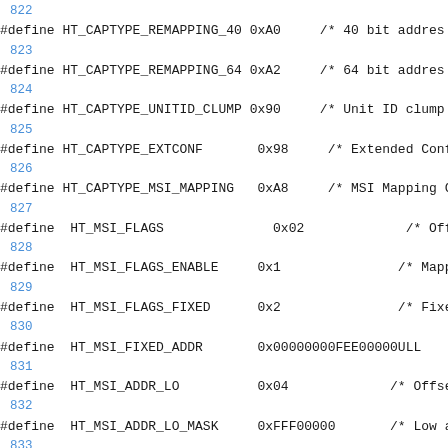822
#define HT_CAPTYPE_REMAPPING_40 0xA0     /* 40 bit addres
823
#define HT_CAPTYPE_REMAPPING_64 0xA2     /* 64 bit addres
824
#define HT_CAPTYPE_UNITID_CLUMP 0x90     /* Unit ID clump
825
#define HT_CAPTYPE_EXTCONF      0x98     /* Extended Conf
826
#define HT_CAPTYPE_MSI_MAPPING  0xA8     /* MSI Mapping C
827
#define  HT_MSI_FLAGS           0x02             /* Offse
828
#define  HT_MSI_FLAGS_ENABLE    0x1              /* Mappi
829
#define  HT_MSI_FLAGS_FIXED     0x2              /* Fixed
830
#define  HT_MSI_FIXED_ADDR      0x00000000FEE00000ULL
831
#define  HT_MSI_ADDR_LO         0x04             /* Offse
832
#define  HT_MSI_ADDR_LO_MASK    0xFFF00000       /* Low a
833
#define  HT_MSI_ADDR_HI         0x08             /* Offse
834